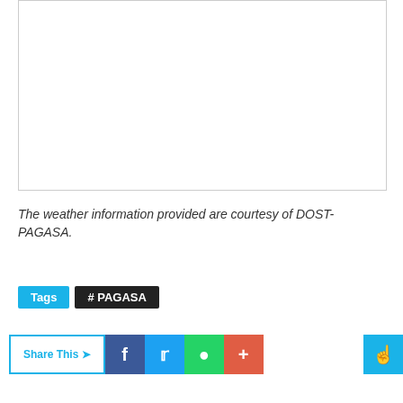[Figure (other): Empty white image placeholder box with light gray border]
The weather information provided are courtesy of DOST-PAGASA.
Tags  # PAGASA
Share This  f  t  (whatsapp)  +